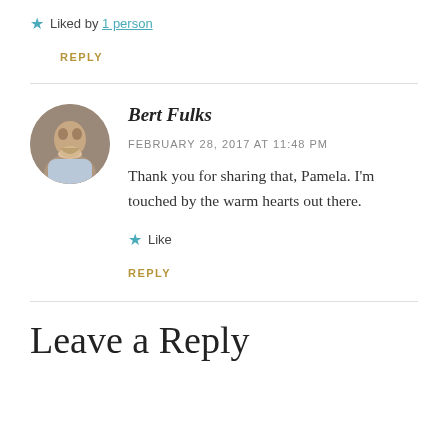Liked by 1 person
REPLY
Bert Fulks
FEBRUARY 28, 2017 AT 11:48 PM
Thank you for sharing that, Pamela. I'm touched by the warm hearts out there.
Like
REPLY
Leave a Reply